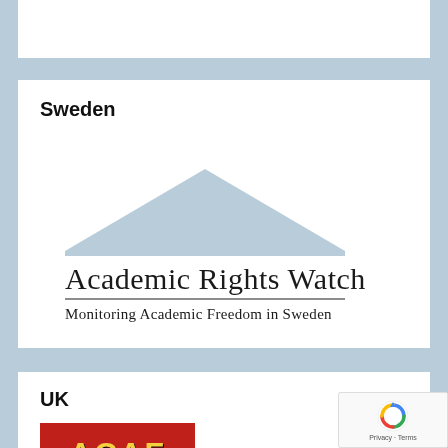Sweden
[Figure (logo): Academic Rights Watch logo with triangular roof shape above text 'Academic Rights Watch' and subtitle 'Monitoring Academic Freedom in Sweden']
UK
[Figure (logo): Red banner with yellow block letters 'ACAF']